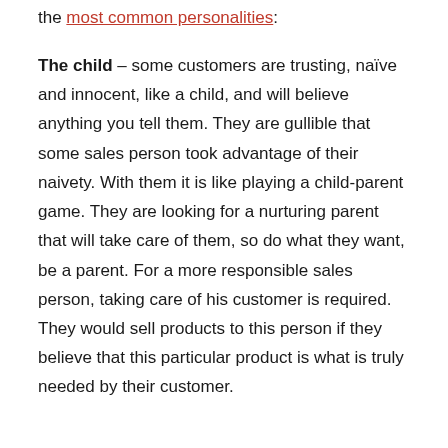the most common personalities:
The child – some customers are trusting, naïve and innocent, like a child, and will believe anything you tell them. They are gullible that some sales person took advantage of their naivety. With them it is like playing a child-parent game. They are looking for a nurturing parent that will take care of them, so do what they want, be a parent. For a more responsible sales person, taking care of his customer is required. They would sell products to this person if they believe that this particular product is what is truly needed by their customer.